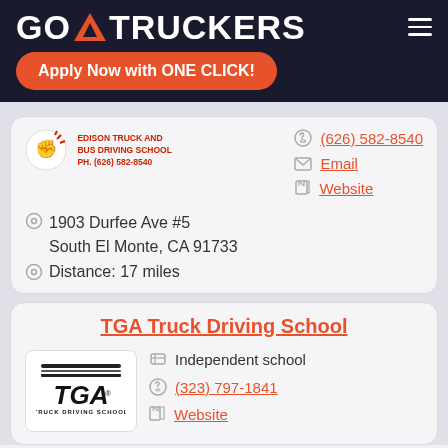GO TRUCKERS
Apply Now with ONE CLICK!
[Figure (logo): Edison Truck and Bus Driving School logo with phone Ph. (626) 582-8540]
(626) 582-8540
Email
Website
1903 Durfee Ave #5
South El Monte, CA 91733
Distance: 17 miles
TGA Truck Driving School
[Figure (logo): TGA Truck Driving School logo]
Independent school
(323) 797-1841
Website